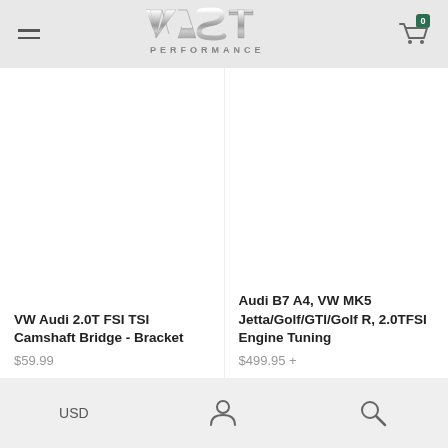VAST PERFORMANCE — header with menu icon, logo, and cart (0)
[Figure (logo): VAST PERFORMANCE metallic silver logo]
VW Audi 2.0T FSI TSI Camshaft Bridge - Bracket
$59.99
Audi B7 A4, VW MK5 Jetta/Golf/GTI/Golf R, 2.0TFSI Engine Tuning
$499.95 +
USD | person icon | search icon